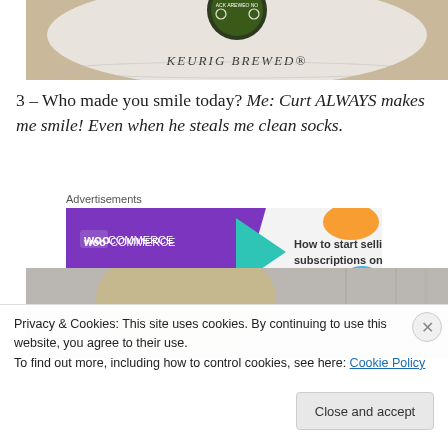[Figure (photo): Close-up of a Keurig Brewed coffee pod label with circular logo and text 'KEURIG BREWED' visible]
3 – Who made you smile today? Me: Curt ALWAYS makes me smile! Even when he steals me clean socks.
Advertisements
[Figure (photo): WooCommerce advertisement banner: purple background with WooCommerce logo, teal arrow, and orange/blue accent shapes. Text: 'How to start selling subscriptions online']
[Figure (photo): Partial photo of a blond person, blurred background]
Privacy & Cookies: This site uses cookies. By continuing to use this website, you agree to their use.
To find out more, including how to control cookies, see here: Cookie Policy
Close and accept